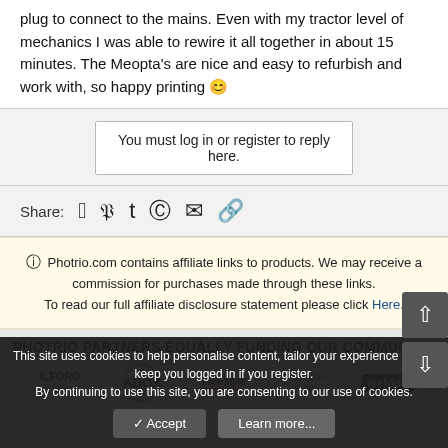plug to connect to the mains. Even with my tractor level of mechanics I was able to rewire it all together in about 15 minutes. The Meopta's are nice and easy to refurbish and work with, so happy printing 🙂
You must log in or register to reply here.
Share:
Photrio.com contains affiliate links to products. We may receive a commission for purchases made through these links. To read our full affiliate disclosure statement please click Here.
PHOTRIO PARTNERS EQUALLY FUNDING OUR COMMUNITY:
[Figure (logo): Partner logos: ILFORD PHOTO, ADOX, Freestyle, Stearman Press, weldon]
This site uses cookies to help personalise content, tailor your experience and to keep you logged in if you register. By continuing to use this site, you are consenting to our use of cookies.